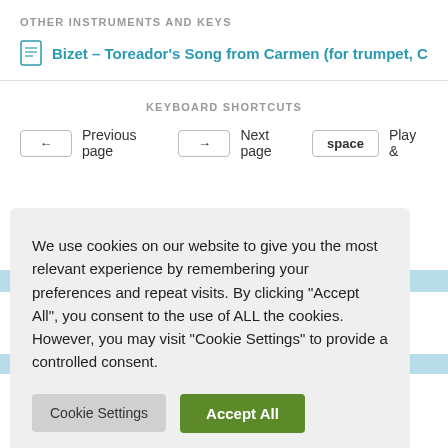OTHER INSTRUMENTS AND KEYS
Bizet – Toreador's Song from Carmen (for trumpet, C…
KEYBOARD SHORTCUTS
← Previous page   → Next page   space Play &…
We use cookies on our website to give you the most relevant experience by remembering your preferences and repeat visits. By clicking "Accept All", you consent to the use of ALL the cookies. However, you may visit "Cookie Settings" to provide a controlled consent.
Cookie Settings   Accept All
erms of Service
rivacy Policy
iA
Privacy Policy and